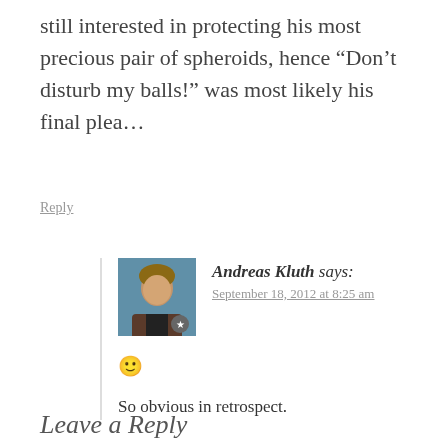still interested in protecting his most precious pair of spheroids, hence “Don’t disturb my balls!” was most likely his final plea…
Reply
Andreas Kluth says:
September 18, 2012 at 8:25 am
[Figure (illustration): Smiley face emoji 🙂]
So obvious in retrospect.
Leave a Reply